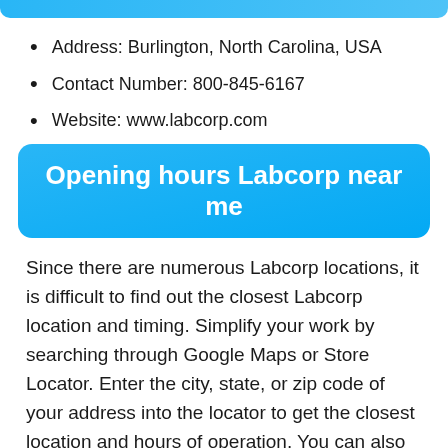Address: Burlington, North Carolina, USA
Contact Number: 800-845-6167
Website: www.labcorp.com
Opening hours Labcorp near me
Since there are numerous Labcorp locations, it is difficult to find out the closest Labcorp location and timing. Simplify your work by searching through Google Maps or Store Locator. Enter the city, state, or zip code of your address into the locator to get the closest location and hours of operation. You can also rely on the Google Maps option to find the closest location and work schedule. All you need to do is open Google and search for “Labcorp hours near me”. Based on